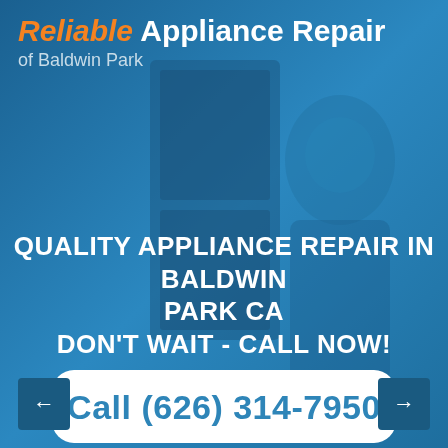Reliable Appliance Repair of Baldwin Park
QUALITY APPLIANCE REPAIR IN BALDWIN PARK CA
DON'T WAIT - CALL NOW!
Call (626) 314-7950
we're open 7 days a week, 8AM - 8PM
[Figure (photo): Background photo of a woman smiling near a refrigerator, overlaid with a blue tint]